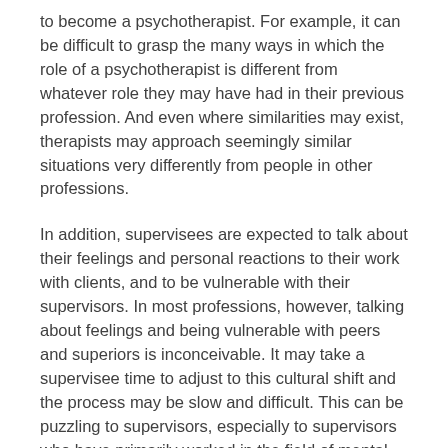to become a psychotherapist. For example, it can be difficult to grasp the many ways in which the role of a psychotherapist is different from whatever role they may have had in their previous profession. And even where similarities may exist, therapists may approach seemingly similar situations very differently from people in other professions.
In addition, supervisees are expected to talk about their feelings and personal reactions to their work with clients, and to be vulnerable with their supervisors. In most professions, however, talking about feelings and being vulnerable with peers and superiors is inconceivable. It may take a supervisee time to adjust to this cultural shift and the process may be slow and difficult. This can be puzzling to supervisors, especially to supervisors who have primarily worked in the field of mental health where such openness is expected and normal.